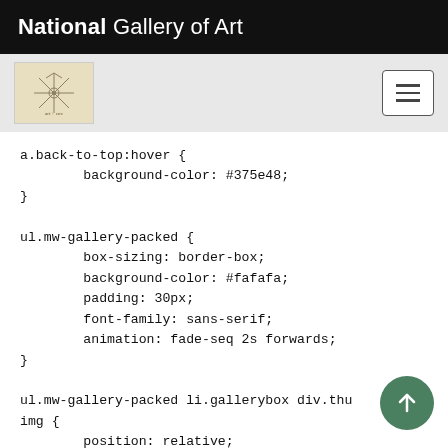National Gallery of Art
[Figure (logo): National Gallery of Art sub-header with decorative snowflake/compass logo and hamburger menu button]
a.back-to-top:hover {
        background-color: #375e48;
}

ul.mw-gallery-packed {
        box-sizing: border-box;
        background-color: #fafafa;
        padding: 30px;
        font-family: sans-serif;
        animation: fade-seq 2s forwards;
}

ul.mw-gallery-packed li.gallerybox div.thu
img {
        position: relative;
        transition: all 0.3s ease;